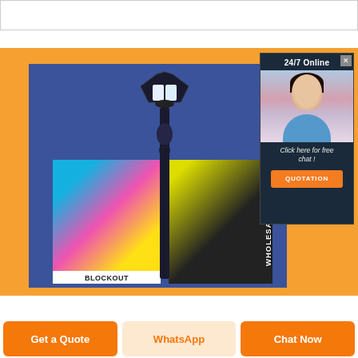[Figure (screenshot): Website screenshot showing a street lamp pole with colorful blockout banners on a blue background, with an orange outer frame. A chat popup in the top right shows '24/7 Online' with a photo of a woman wearing a headset, and a 'Click here for free chat!' message with a QUOTATION button.]
24/7 Online
Click here for free chat !
QUOTATION
BLOCKOUT
WHOLESALE TRADE
Get a Quote
WhatsApp
Chat Now